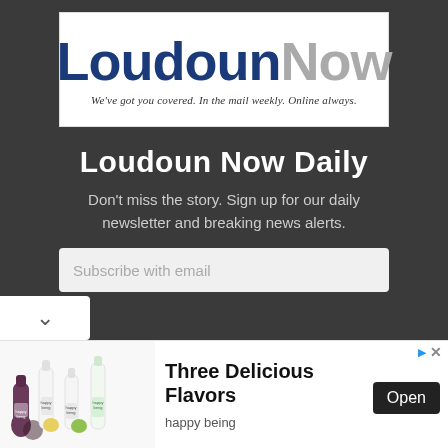[Figure (logo): Loudoun Now newspaper logo with blue 'Loudoun' and gray 'Now' text, tagline: We've got you covered. In the mail weekly. Online always.]
Loudoun Now Daily
Don't miss the story. Sign up for our daily newsletter and breaking news alerts.
Subscribe with email
[Figure (photo): Advertisement for 'happy being' brand showing three bottles of flavored drinks with the text 'Three Delicious Flavors', 'happy being', and an 'Open' button]